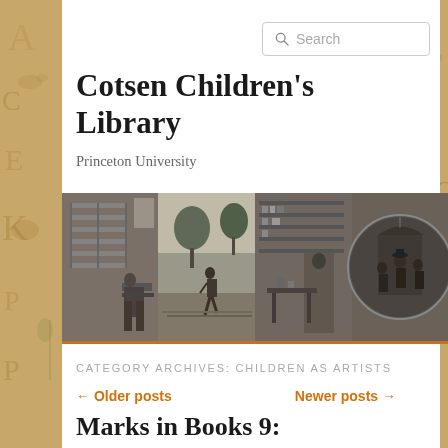[Figure (screenshot): Website header for Cotsen Children's Library with search bar, site title, subtitle, banner strip with four historical engravings, category archives heading, navigation links, and post title]
Search
Cotsen Children's Library
Princeton University
[Figure (illustration): Banner strip with four black-and-white historical engravings: a person at a desk with shelves, a figure walking outdoors with trees, a shop interior with shelves, and a circular inset of people reading]
CATEGORY ARCHIVES: CHILDREN AS ARTISTS
← Older posts
Newer posts →
Marks in Books 9: Daydreaming Boys Draw